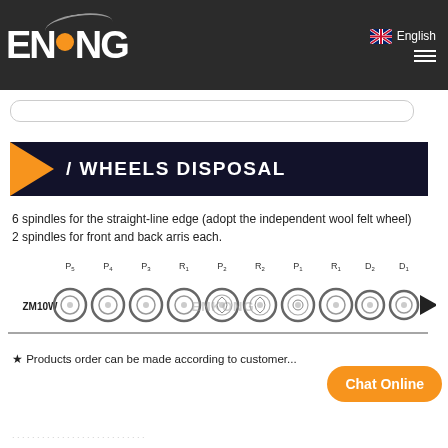ENKONG | English
WHEELS DISPOSAL
6 spindles for the straight-line edge (adopt the independent wool felt wheel)
2 spindles for front and back arris each.
[Figure (schematic): ZM10W wheel disposal diagram showing 10 grinding wheels labeled P5, P4, P3, R1, P2, R2, P1, R1, D2, D1 with an arrow and a blue bar at the end. Each wheel is shown as a circular icon.]
★ Products order can be made according to customer...